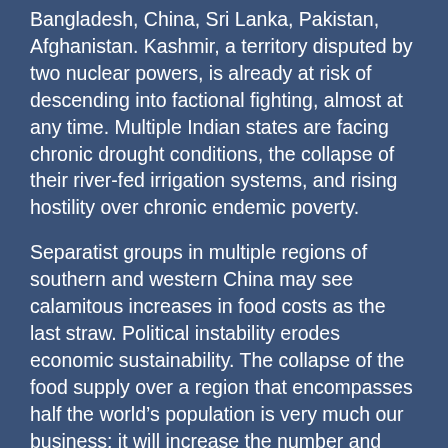Bangladesh, China, Sri Lanka, Pakistan, Afghanistan. Kashmir, a territory disputed by two nuclear powers, is already at risk of descending into factional fighting, almost at any time. Multiple Indian states are facing chronic drought conditions, the collapse of their river-fed irrigation systems, and rising hostility over chronic endemic poverty.
Separatist groups in multiple regions of southern and western China may see calamitous increases in food costs as the last straw. Political instability erodes economic sustainability. The collapse of the food supply over a region that encompasses half the world’s population is very much our business: it will increase the number and variety of security threats, and wreak havoc on our domestic food markets.